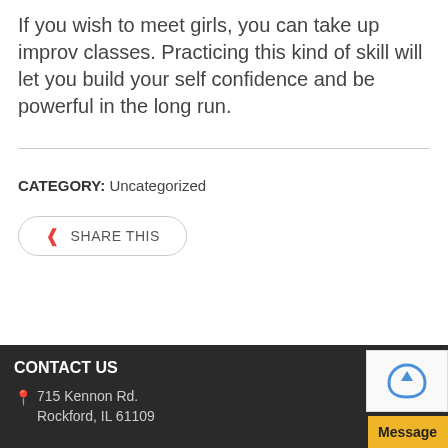If you wish to meet girls, you can take up improv classes. Practicing this kind of skill will let you build your self confidence and be powerful in the long run.
CATEGORY: Uncategorized
[Figure (other): Share This button with share icon]
CONTACT US
715 Kennon Rd. Rockford, IL 61109
[Figure (other): reCAPTCHA widget and Message button]